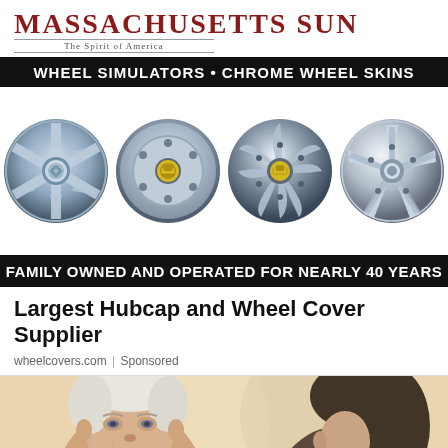Massachusetts Sun — The Spirit of America
[Figure (illustration): Advertisement for wheel simulators and chrome wheel skins showing four chrome wheels on black background with text 'WHEEL SIMULATORS • CHROME WHEEL SKINS' and 'FAMILY OWNED AND OPERATED FOR NEARLY 40 YEARS']
Largest Hubcap and Wheel Cover Supplier
wheelcovers.com | Sponsored
[Figure (photo): Photo of an elderly white-haired man facing a dark-haired person, partial view, consultation scene]